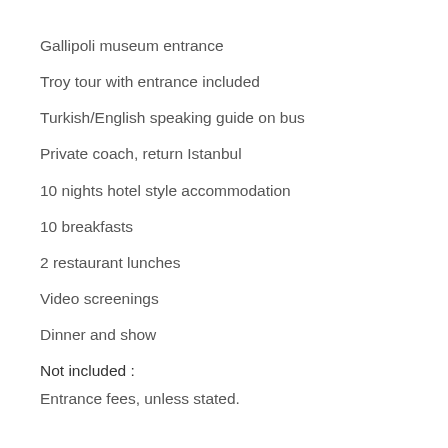Gallipoli museum entrance
Troy tour with entrance included
Turkish/English speaking guide on bus
Private coach, return Istanbul
10 nights hotel style accommodation
10 breakfasts
2 restaurant lunches
Video screenings
Dinner and show
Not included :
Entrance fees, unless stated.